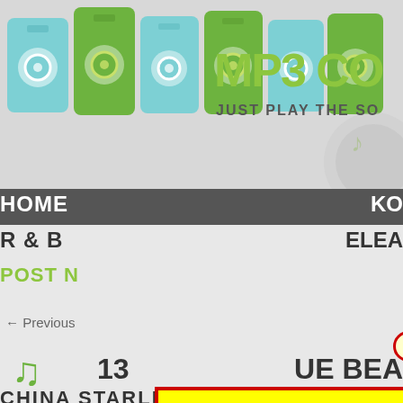[Figure (screenshot): MP3 music website screenshot with colorful MP3 player device icons (alternating teal and green), site logo 'MP3CO' with tagline 'JUST PLAY THE SO...', navigation menu partially visible showing HOME, R&B, POST N, KO, ELEA, a yellow highlighted overlay box with red border, a red 'close' button with rounded rectangle outline, pagination link '← Previous', music note icon, track number '13', text 'UE BEA', and partial text 'CHINA STARLIGHT' at bottom.]